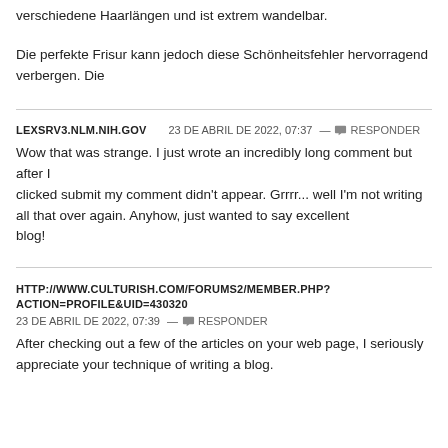verschiedene Haarlängen und ist extrem wandelbar.
Die perfekte Frisur kann jedoch diese Schönheitsfehler hervorragend verbergen. Die
LEXSRV3.NLM.NIH.GOV    23 DE ABRIL DE 2022, 07:37 — RESPONDER
Wow that was strange. I just wrote an incredibly long comment but after I clicked submit my comment didn't appear. Grrrr... well I'm not writing all that over again. Anyhow, just wanted to say excellent blog!
HTTP://WWW.CULTURISH.COM/FORUMS2/MEMBER.PHP?ACTION=PROFILE&UID=430320
23 DE ABRIL DE 2022, 07:39 — RESPONDER
After checking out a few of the articles on your web page, I seriously appreciate your technique of writing a blog.